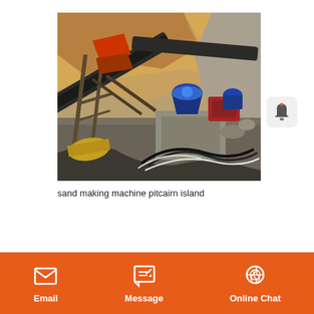[Figure (photo): Aerial/elevated view of a sand making machine / stone crushing plant at a quarry site on Pitcairn Island. Shows industrial conveyor belts, a cone crusher with blue motor housing, support structures, and cables in the foreground. Rocky hillside with reddish-brown soil in background.]
sand making machine pitcairn island
Email   Message   Online Chat